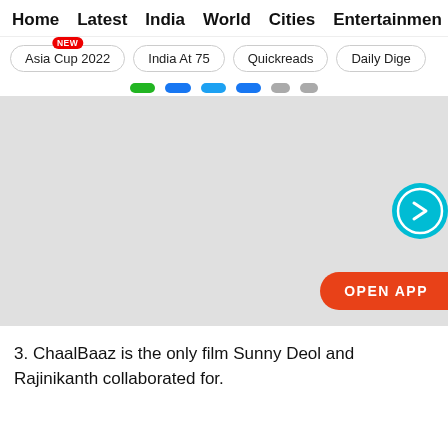Home  Latest  India  World  Cities  Entertainment
Asia Cup 2022 (NEW)  India At 75  Quickreads  Daily Dige...
[Figure (screenshot): Grey placeholder image area with a teal circular arrow button on the right edge and a red OPEN APP button at the bottom right]
3. ChaalBaaz is the only film Sunny Deol and Rajinikanth collaborated for.